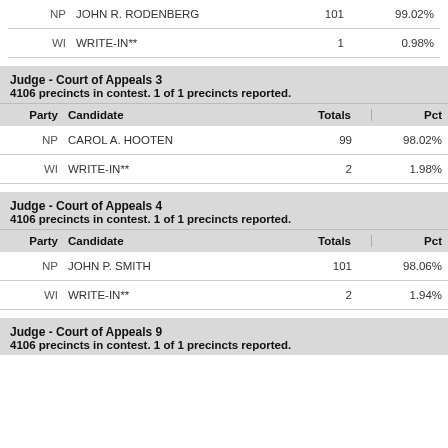| Party | Candidate | Totals | Pct |
| --- | --- | --- | --- |
| NP | JOHN R. RODENBERG | 101 | 99.02% |
| WI | WRITE-IN** | 1 | 0.98% |
Judge - Court of Appeals 3
4106 precincts in contest. 1 of 1 precincts reported.
| Party | Candidate | Totals | Pct |
| --- | --- | --- | --- |
| NP | CAROL A. HOOTEN | 99 | 98.02% |
| WI | WRITE-IN** | 2 | 1.98% |
Judge - Court of Appeals 4
4106 precincts in contest. 1 of 1 precincts reported.
| Party | Candidate | Totals | Pct |
| --- | --- | --- | --- |
| NP | JOHN P. SMITH | 101 | 98.06% |
| WI | WRITE-IN** | 2 | 1.94% |
Judge - Court of Appeals 9
4106 precincts in contest. 1 of 1 precincts reported.